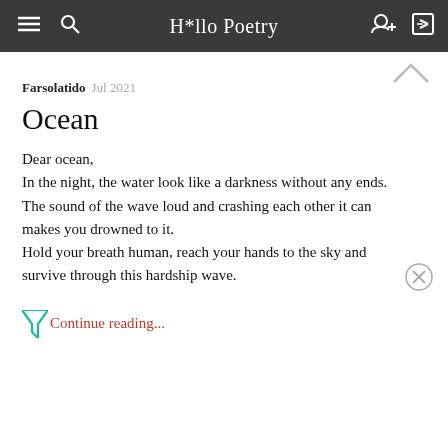H*llo Poetry
Farsolatido  Jul 2021
Ocean
Dear ocean,
In the night, the water look like a darkness without any ends.
The sound of the wave loud and crashing each other it can makes you drowned to it.
Hold your breath human, reach your hands to the sky and survive through this hardship wave.
Continue reading...